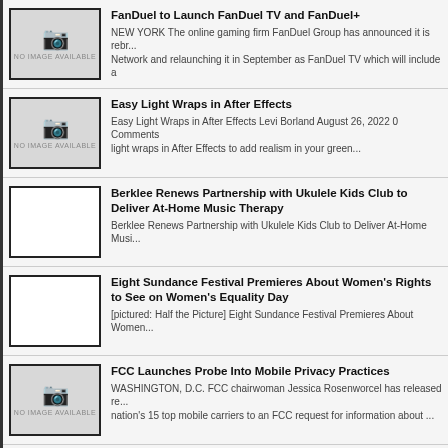FanDuel to Launch FanDuel TV and FanDuel+
NEW YORK The online gaming firm FanDuel Group has announced it is rebr... Network and relaunching it in September as FanDuel TV which will include a
Easy Light Wraps in After Effects
Easy Light Wraps in After Effects Levi Borland August 26, 2022 0 Comments light wraps in After Effects to add realism in your green...
Berklee Renews Partnership with Ukulele Kids Club to Deliver At-Home Music Therapy
Berklee Renews Partnership with Ukulele Kids Club to Deliver At-Home Musi...
Eight Sundance Festival Premieres About Women's Rights to See on Women's Equality Day
[pictured: Half the Picture] Eight Sundance Festival Premieres About Women...
FCC Launches Probe Into Mobile Privacy Practices
WASHINGTON, D.C. FCC chairwoman Jessica Rosenworcel has released re... nation's 15 top mobile carriers to an FCC request for information about ...
HBO Renews House Of The Dragon For A Second Season
NEW YORK After a record breaking premiere, HBO has renewed House of th... season even before the second episode of the series has aired....
Celebrity Fundraisers Benefitting St. Jude Children's Research H... with URSA Broadcast G2